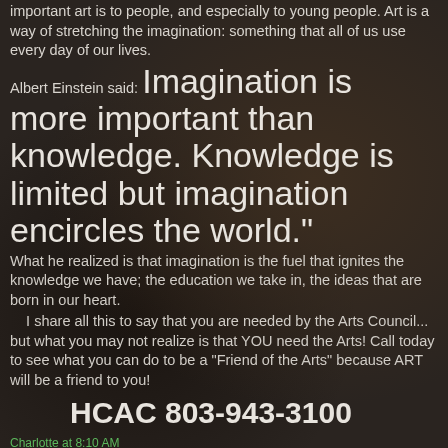important art is to people, and especially to young people.  Art is a way of stretching the imagination: something that all of us use every day of our lives.
Albert Einstein said:  Imagination is more important than knowledge.  Knowledge is limited but imagination encircles the world."
What he realized is that imagination is the fuel that ignites the knowledge we have; the education we take in, the ideas that are born in our heart.
I share all this to say that you are needed by the Arts Council... but what you may not realize is that YOU need the Arts!  Call today to see what you can do to be a "Friend of the Arts" because ART will be a friend to you!
HCAC 803-943-3100
Charlotte at 8:10 AM